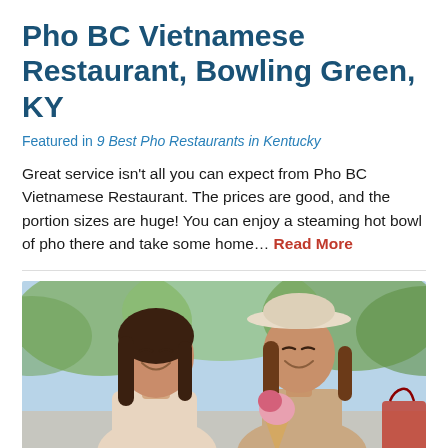Pho BC Vietnamese Restaurant, Bowling Green, KY
Featured in 9 Best Pho Restaurants in Kentucky
Great service isn’t all you can expect from Pho BC Vietnamese Restaurant. The prices are good, and the portion sizes are huge! You can enjoy a steaming hot bowl of pho there and take some home... Read More
[Figure (photo): Two young women outdoors laughing and smiling, one holding an ice cream cone, with blurred green trees in background]